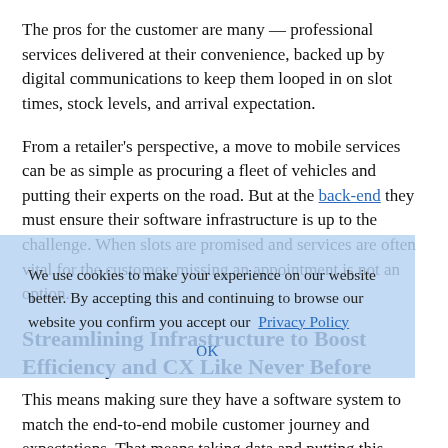The pros for the customer are many — professional services delivered at their convenience, backed up by digital communications to keep them looped in on slot times, stock levels, and arrival expectation.
From a retailer's perspective, a move to mobile services can be as simple as procuring a fleet of vehicles and putting their experts on the road. But at the back-end they must ensure their software infrastructure is up to the challenge. When slots are promised and services are often vital for the customer, missing an appointment is not an option.
We use cookies to make your experience on our website better. By accepting this and continuing to browse our website you confirm you accept our Privacy Policy
OK
Streamlining Infrastructure to Boost Efficiency and CX Like Never Before
This means making sure they have a software system to match the end-to-end mobile customer journey and expectations. That means taking data and putting this